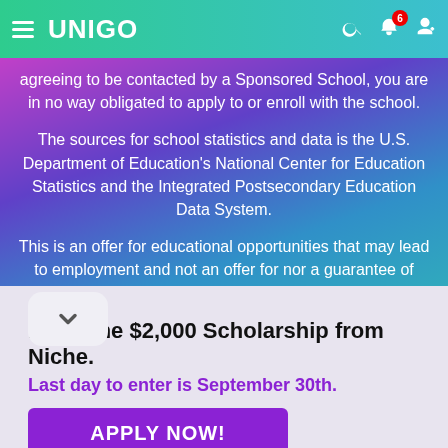UNIGO
agreeing to be contacted by a Sponsored School, you are in no way obligated to apply to or enroll with the school.
The sources for school statistics and data is the U.S. Department of Education's National Center for Education Statistics and the Integrated Postsecondary Education Data System.
This is an offer for educational opportunities that may lead to employment and not an offer for nor a guarantee of ment. Students should consult with a representative
Featured Ad
Enter the $2,000 Scholarship from Niche.
Last day to enter is September 30th.
APPLY NOW!